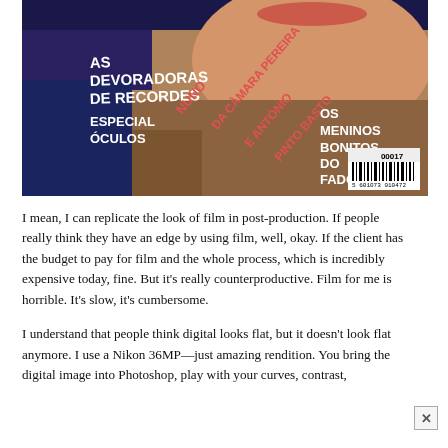[Figure (photo): Magazine cover showing a close-up of a woman's face with a fur collar. Text overlays in white and red/pink read: AS DEVORADORAS DE RECORDES, ESPECIAL ÓCULOS, NUNO DA CÂMARA PEREIRA E ANTÓNIO PINTO BASTO, OS MENINOS BONITOS DO FADO. A barcode is visible in the lower right.]
I mean, I can replicate the look of film in post-production. If people really think they have an edge by using film, well, okay. If the client has the budget to pay for film and the whole process, which is incredibly expensive today, fine. But it's really counterproductive. Film for me is horrible. It's slow, it's cumbersome.
I understand that people think digital looks flat, but it doesn't look flat anymore. I use a Nikon 36MP—just amazing rendition. You bring the digital image into Photoshop, play with your curves, contrast,